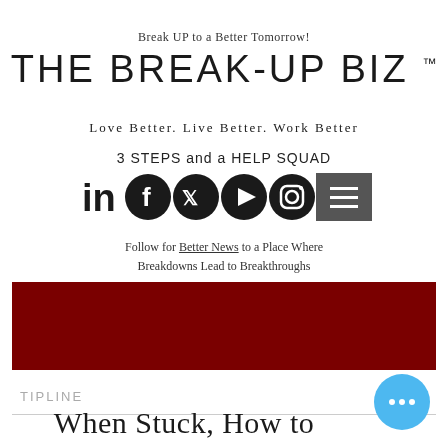Break UP to a Better Tomorrow!
THE BREAK-UP BIZ ™
Love Better. Live Better. Work Better
3 STEPS and a HELP SQUAD
[Figure (infographic): Social media icons row: LinkedIn, Facebook, Twitter, YouTube, Instagram, and a hamburger menu button]
Follow for Better News to a Place Where Breakdowns Lead to Breakthroughs
[Figure (other): Solid dark red/maroon banner rectangle]
TIPLINE
When Stuck, How to
[Figure (other): Blue circular chat button with three white dots]